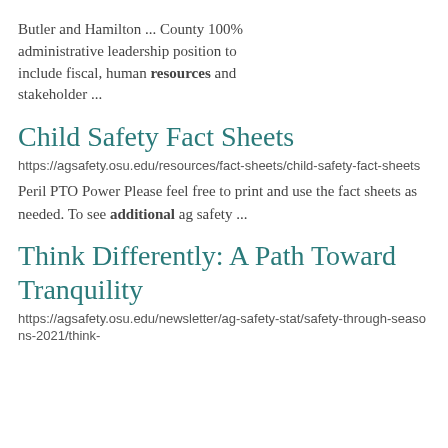Butler and Hamilton ... County 100% administrative leadership position to include fiscal, human resources and stakeholder ...
Child Safety Fact Sheets
https://agsafety.osu.edu/resources/fact-sheets/child-safety-fact-sheets
Peril PTO Power Please feel free to print and use the fact sheets as needed. To see additional ag safety ...
Think Differently: A Path Toward Tranquility
https://agsafety.osu.edu/newsletter/ag-safety-stat/safety-through-seasons-2021/think-...